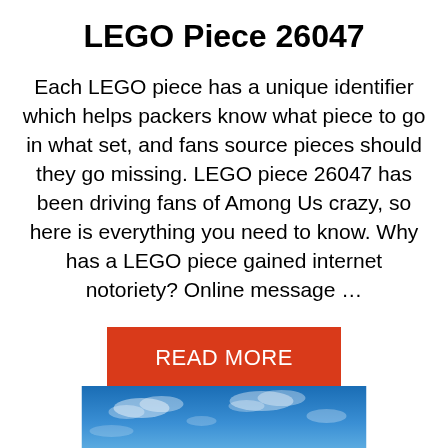LEGO Piece 26047
Each LEGO piece has a unique identifier which helps packers know what piece to go in what set, and fans source pieces should they go missing. LEGO piece 26047 has been driving fans of Among Us crazy, so here is everything you need to know. Why has a LEGO piece gained internet notoriety? Online message …
READ MORE
[Figure (photo): Blue sky with clouds, partial view at the bottom of the page]